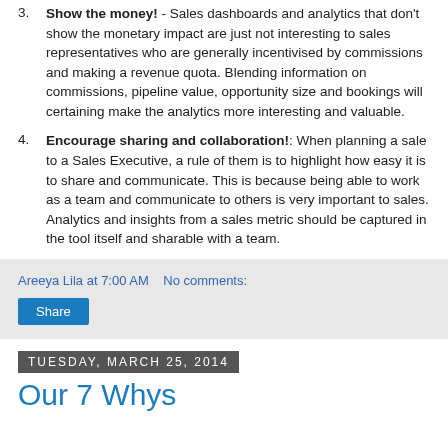Show the money! - Sales dashboards and analytics that don't show the monetary impact are just not interesting to sales representatives who are generally incentivised by commissions and making a revenue quota. Blending information on commissions, pipeline value, opportunity size and bookings will certaining make the analytics more interesting and valuable.
Encourage sharing and collaboration!: When planning a sale to a Sales Executive, a rule of them is to highlight how easy it is to share and communicate. This is because being able to work as a team and communicate to others is very important to sales. Analytics and insights from a sales metric should be captured in the tool itself and sharable with a team.
Areeya Lila at 7:00 AM   No comments:
Share
Tuesday, March 25, 2014
Our 7 Whys